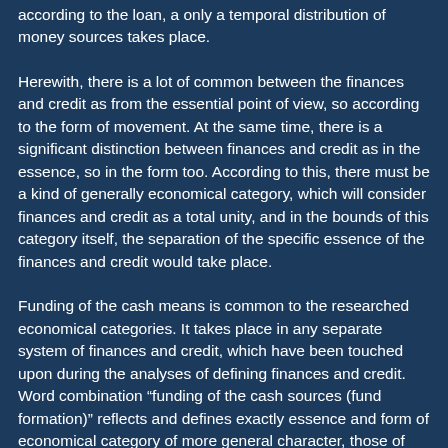according to the loan, a only a temporal distribution of money sources takes place.
Herewith, there is a lot of common between the finances and credit as from the essential point of view, so according to the form of movement. At the same time, there is a significant distinction between finances and credit as in the essence, so in the form too. According to this, there must be a kind of generally economical category, which will consider finances and credit as a total unity, and in the bounds of this category itself, the separation of the specific essence of the finances and credit would take place.
Funding of the cash means is common to the researched economical categories. It takes place in any separate system of finances and credit, which have been touched upon during the analyses of defining finances and credit. Word combination "funding of the cash sources (fund formation)" reflects and defines exactly essence and form of economical category of more general character, those of finances and credit categories. Though in the in economical texts and practice, it is very uncomfortable to use a termini, which consists of three words. Also, "unloading" with an